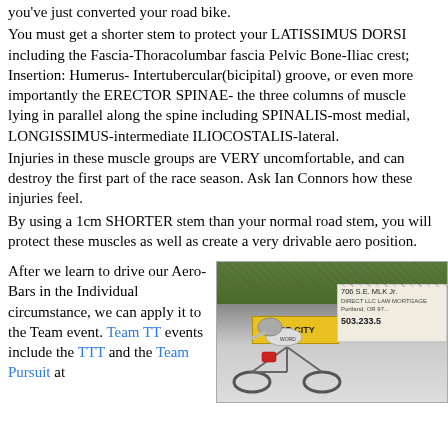you've just converted your road bike.
You must get a shorter stem to protect your LATISSIMUS DORSI including the Fascia-Thoracolumbar fascia Pelvic Bone-Iliac crest; Insertion: Humerus- Intertubercular(bicipital) groove, or even more importantly the ERECTOR SPINAE- the three columns of muscle lying in parallel along the spine including SPINALIS-most medial, LONGISSIMUS-intermediate ILIOCOSTALIS-lateral.
Injuries in these muscle groups are VERY uncomfortable, and can destroy the first part of the race season. Ask Ian Connors how these injuries feel.
By using a 1cm SHORTER stem than your normal road stem, you will protect these muscles as well as create a very drivable aero position.
After we learn to drive our Aero-Bars in the Individual circumstance, we can apply it to the Team event. Team TT events include the TTT and the Team Pursuit at
[Figure (photo): Photo of a cyclist in aero position on a bike, with a sign in the background showing 706 S.E. MLK Jr., Portland, OR 503.233.5 and a yellow River City sign]